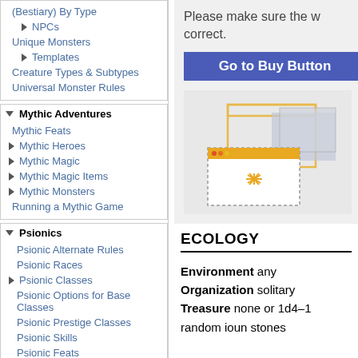(Bestiary) By Type
NPCs
Unique Monsters
Templates
Creature Types & Subtypes
Universal Monster Rules
Mythic Adventures
Mythic Feats
Mythic Heroes
Mythic Magic
Mythic Magic Items
Mythic Monsters
Running a Mythic Game
Psionics
Psionic Alternate Rules
Psionic Races
Psionic Classes
Psionic Options for Base Classes
Psionic Prestige Classes
Psionic Skills
Psionic Feats
Psionic Equipment
Please make sure the w correct.
[Figure (illustration): Browser/UI illustration showing overlapping windows with a starburst/loading icon]
ECOLOGY
Environment any Organization solitary Treasure none or 1d4–1 random ioun stones